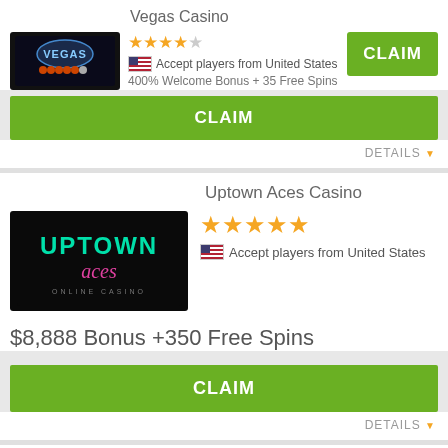Vegas Casino
[Figure (logo): Vegas Casino logo on black background]
Accept players from United States
400% Welcome Bonus + 35 Free Spins
CLAIM
DETAILS
Uptown Aces Casino
[Figure (logo): Uptown Aces Casino logo on black background]
Accept players from United States
$8,888 Bonus +350 Free Spins
CLAIM
DETAILS
Lucky Tiger Casino USA